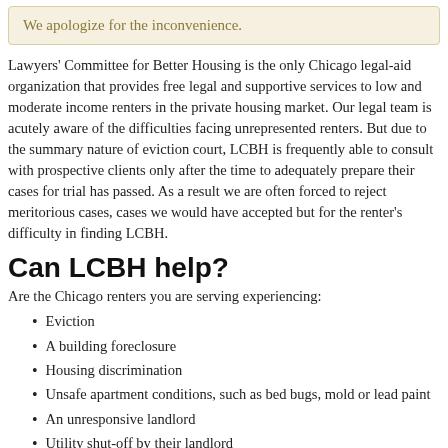We apologize for the inconvenience.
Lawyers' Committee for Better Housing is the only Chicago legal-aid organization that provides free legal and supportive services to low and moderate income renters in the private housing market. Our legal team is acutely aware of the difficulties facing unrepresented renters. But due to the summary nature of eviction court, LCBH is frequently able to consult with prospective clients only after the time to adequately prepare their cases for trial has passed. As a result we are often forced to reject meritorious cases, cases we would have accepted but for the renter's difficulty in finding LCBH.
Can LCBH help?
Are the Chicago renters you are serving experiencing:
Eviction
A building foreclosure
Housing discrimination
Unsafe apartment conditions, such as bed bugs, mold or lead paint
An unresponsive landlord
Utility shut-off by their landlord